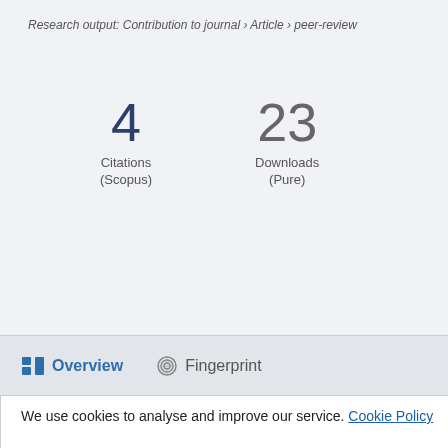Research output: Contribution to journal › Article › peer-review
4
Citations
(Scopus)
23
Downloads
(Pure)
Overview  Fingerprint
We use cookies to analyse and improve our service. Cookie Policy